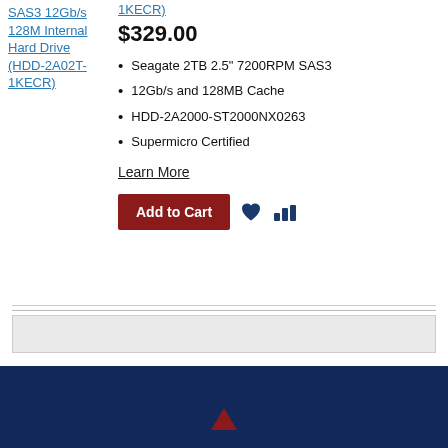SAS3 12Gb/s 128M Internal Hard Drive (HDD-2A02T-1KECR)
$329.00
Seagate 2TB 2.5" 7200RPM SAS3
12Gb/s and 128MB Cache
HDD-2A2000-ST2000NX0263
Supermicro Certified
Learn More
Add to Cart